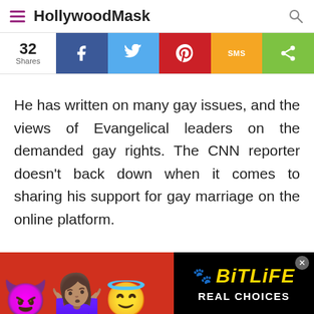HollywoodMask
[Figure (screenshot): Social share bar with 32 shares count and buttons for Facebook, Twitter, Pinterest, SMS, and more]
He has written on many gay issues, and the views of Evangelical leaders on the demanded gay rights. The CNN reporter doesn’t back down when it comes to sharing his support for gay marriage on the online platform.
[Figure (advertisement): BitLife Real Choices game advertisement banner with emoji characters on red background]